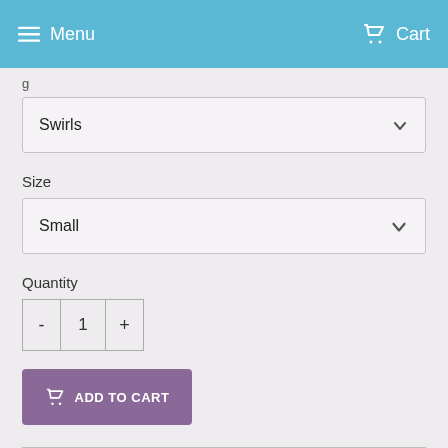Menu  Cart
Swirls
Size
Small
Quantity
- 1 +
ADD TO CART
Pink Daisy Stay Dry Menstrual Pads